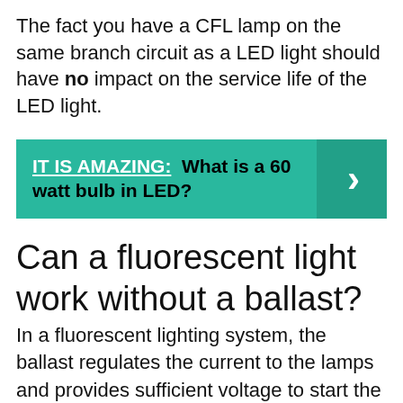The fact you have a CFL lamp on the same branch circuit as a LED light should have no impact on the service life of the LED light.
IT IS AMAZING:  What is a 60 watt bulb in LED?
Can a fluorescent light work without a ballast?
In a fluorescent lighting system, the ballast regulates the current to the lamps and provides sufficient voltage to start the lamps. Without a ballast to limit its current, a fluorescent lamp connected directly to a high voltage power source would rapidly and uncontrollably increase its current draw.